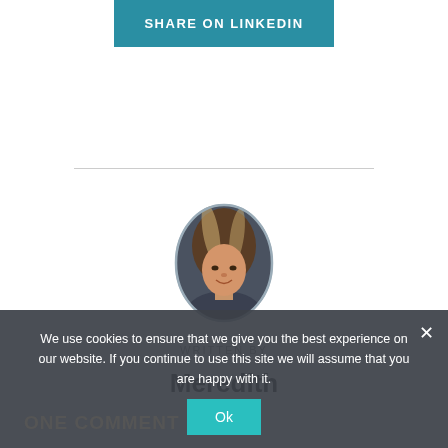SHARE ON LINKEDIN
[Figure (photo): Oval portrait photo of Meredith, a woman with long highlighted hair, smiling, seated in a car interior]
WRITTEN BY
Meredith
We use cookies to ensure that we give you the best experience on our website. If you continue to use this site we will assume that you are happy with it.
ONE COMMENT